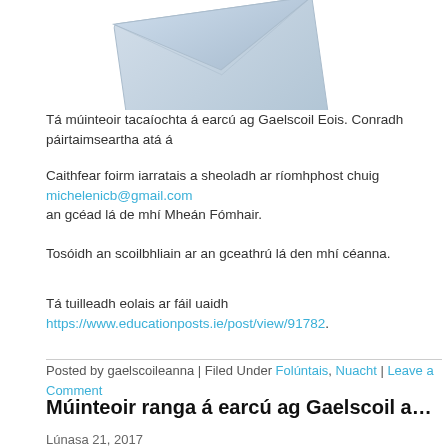[Figure (illustration): Partial envelope illustration at top, light blue/grey envelope tilted, with shadow beneath]
Tá múinteoir tacaíochta á earcú ag Gaelscoil Eois. Conradh páirtaimseartha atá á
Caithfear foirm iarratais a sheoladh ar ríomhphost chuig michelenicb@gmail.com an gcéad lá de mhí Mheán Fómhair.
Tosóidh an scoilbhliain ar an gceathrú lá den mhí céanna.
Tá tuilleadh eolais ar fáil uaidh https://www.educationposts.ie/post/view/91782.
Posted by gaelscoileanna | Filed Under Folúntais, Nuacht | Leave a Comment
Múinteoir ranga á earcú ag Gaelscoil an Mhuilinn
Lúnasa 21, 2017